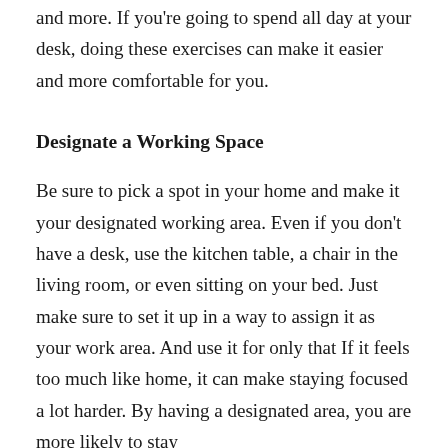and more. If you're going to spend all day at your desk, doing these exercises can make it easier and more comfortable for you.
Designate a Working Space
Be sure to pick a spot in your home and make it your designated working area. Even if you don't have a desk, use the kitchen table, a chair in the living room, or even sitting on your bed. Just make sure to set it up in a way to assign it as your work area. And use it for only that If it feels too much like home, it can make staying focused a lot harder. By having a designated area, you are more likely to stay